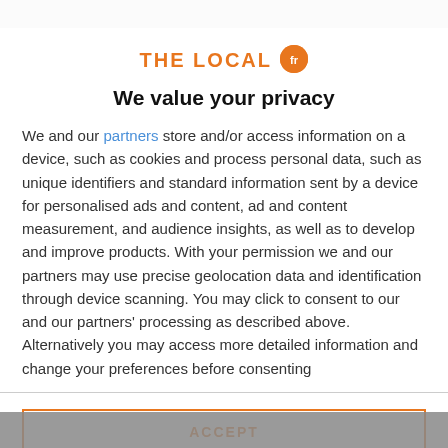[Figure (logo): THE LOCAL fr logo with orange circle containing 'fr' text]
We value your privacy
We and our partners store and/or access information on a device, such as cookies and process personal data, such as unique identifiers and standard information sent by a device for personalised ads and content, ad and content measurement, and audience insights, as well as to develop and improve products. With your permission we and our partners may use precise geolocation data and identification through device scanning. You may click to consent to our and our partners' processing as described above. Alternatively you may access more detailed information and change your preferences before consenting
ACCEPT
MORE OPTIONS